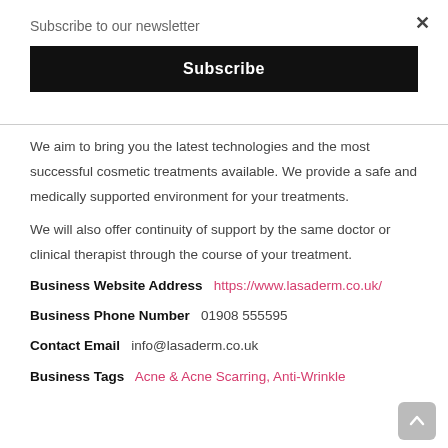Subscribe to our newsletter
[Figure (other): Black Subscribe button]
We aim to bring you the latest technologies and the most successful cosmetic treatments available. We provide a safe and medically supported environment for your treatments.
We will also offer continuity of support by the same doctor or clinical therapist through the course of your treatment.
Business Website Address  https://www.lasaderm.co.uk/
Business Phone Number  01908 555595
Contact Email  info@lasaderm.co.uk
Business Tags  Acne & Acne Scarring, Anti-Wrinkle